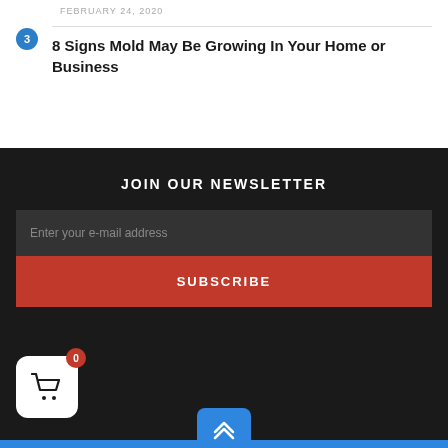FEBRUARY 24, 2020
3 — 8 Signs Mold May Be Growing In Your Home or Business
JOIN OUR NEWSLETTER
Enter your e-mail address
SUBSCRIBE
[Figure (infographic): Shopping cart widget with badge showing 0, and back-to-top arrow button]
0